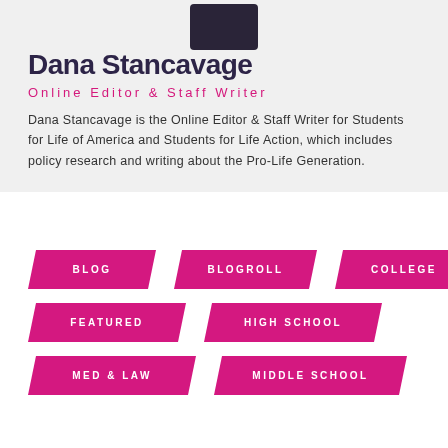[Figure (photo): Profile photo of Dana Stancavage, dark background photo cropped at top]
Dana Stancavage
Online Editor & Staff Writer
Dana Stancavage is the Online Editor & Staff Writer for Students for Life of America and Students for Life Action, which includes policy research and writing about the Pro-Life Generation.
BLOG
BLOGROLL
COLLEGE
FEATURED
HIGH SCHOOL
MED & LAW
MIDDLE SCHOOL